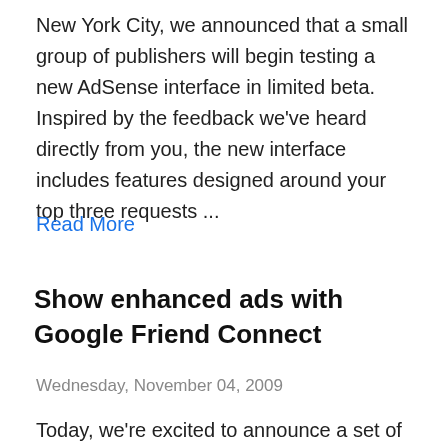New York City, we announced that a small group of publishers will begin testing a new AdSense interface in limited beta.  Inspired by the feedback we've heard directly from you, the new interface includes features designed around your top three requests ...
Read More
Show enhanced ads with Google Friend Connect
Wednesday, November 04, 2009
Today, we're excited to announce a set of new features in Google Friend Connect that let website owners get to know